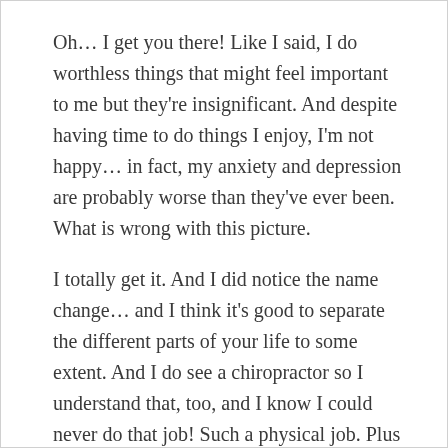Oh… I get you there! Like I said, I do worthless things that might feel important to me but they're insignificant. And despite having time to do things I enjoy, I'm not happy… in fact, my anxiety and depression are probably worse than they've ever been. What is wrong with this picture.
I totally get it. And I did notice the name change… and I think it's good to separate the different parts of your life to some extent. And I do see a chiropractor so I understand that, too, and I know I could never do that job! Such a physical job. Plus I hate people and all. LOL.
(Hope I left you with a laugh… love ya!)